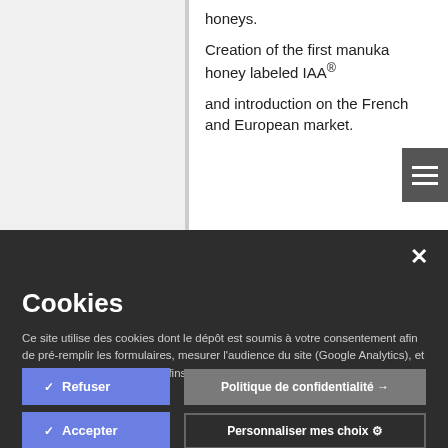honeys.
Creation of the first manuka honey labeled IAA®
and introduction on the French and European market.
Cookies
Ce site utilise des cookies dont le dépôt est soumis à votre consentement afin de pré-remplir les formulaires, mesurer l'audience du site (Google Analytics), et collecter des données à des fins publicitaires. Pour en savoir plus, cliquez sur "Politique de confidentialité".
✓  Refuser
Politique de confidentialité →
✓  Accepter
Personnaliser mes choix ⚙